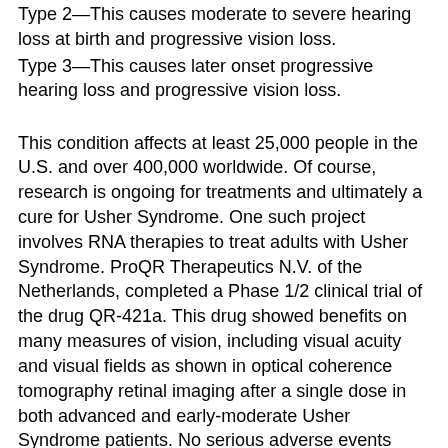Type 2—This causes moderate to severe hearing loss at birth and progressive vision loss.
Type 3—This causes later onset progressive hearing loss and progressive vision loss.
This condition affects at least 25,000 people in the U.S. and over 400,000 worldwide. Of course, research is ongoing for treatments and ultimately a cure for Usher Syndrome. One such project involves RNA therapies to treat adults with Usher Syndrome. ProQR Therapeutics N.V. of the Netherlands, completed a Phase 1/2 clinical trial of the drug QR-421a. This drug showed benefits on many measures of vision, including visual acuity and visual fields as shown in optical coherence tomography retinal imaging after a single dose in both advanced and early-moderate Usher Syndrome patients. No serious adverse events were reported and based on these finding, the company planned to do a Phase 2/3 trials at the end of 2021.
QR-421a's purpose is to stop vision loss or restore vision in persons with a mutation in a specific part of the USH2A gene, known as exon 13. The drug works by binding to the